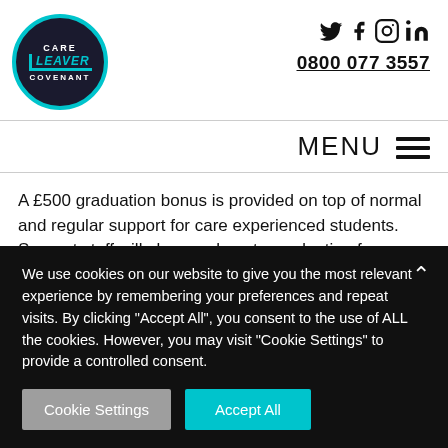[Figure (logo): Care Leaver Covenant logo — circular dark navy badge with cyan border, text: CARE, LEAVER, COVENANT]
Social media icons: Twitter, Facebook, Instagram, LinkedIn
0800 077 3557
MENU
A £500 graduation bonus is provided on top of normal and regular support for care experienced students. Support staff will also go along to graduation for support for students with strong
We use cookies on our website to give you the most relevant experience by remembering your preferences and repeat visits. By clicking "Accept All", you consent to the use of ALL the cookies. However, you may visit "Cookie Settings" to provide a controlled consent.
Cookie Settings
Accept All